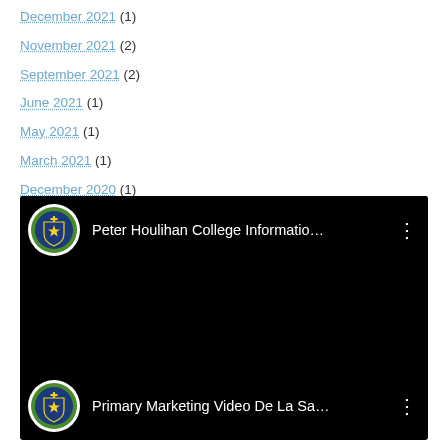December 2021 (1)
November 2021 (2)
September 2021 (2)
June 2021 (1)
May 2021 (1)
March 2021 (1)
December 2020 (1)
September 2020 (1)
[Figure (screenshot): YouTube video thumbnail for 'Peter Houlihan College Informatio...' with De La Salle school crest logo]
[Figure (screenshot): YouTube video thumbnail for 'Primary Marketing Video De La Sa...' with De La Salle school crest logo]